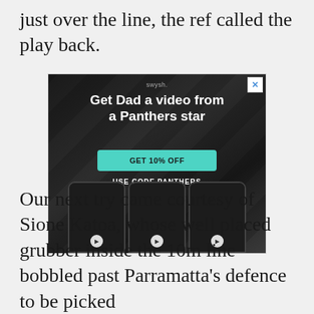just over the line, the ref called the play back.
[Figure (infographic): Swysh advertisement: 'Get Dad a video from a Panthers star' with GET 10% OFF button and USE CODE PANTHERS text, featuring three Panthers players on phone screens]
Our next try came courtesy of Sione Katoa, whose well placed grubber inside the 10m line bobbled past Parramatta's defence to be picked